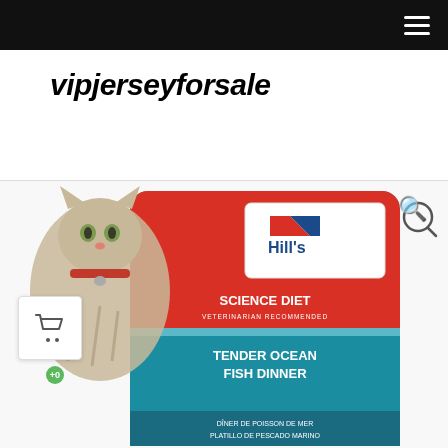vipjerseyforsale — navigation bar with hamburger menu
vipjerseyforsale
[Figure (photo): Hill's Science Diet cat food pouch — Tender Ocean Fish Dinner. A tabby cat wearing a red collar is shown on the left side of the package. The package is teal/red with Hill's logo and text: SCIENCE DIET VETERINARIAN RECOMMENDED, TENDER OCEAN FISH DINNER, DÎNER DE POISSON DE MER, PLATILLO DE PESCADO MARINO. A search icon (magnifying glass) appears in the upper right of the image area. A shopping cart button with a green +0 badge is in the lower left corner.]